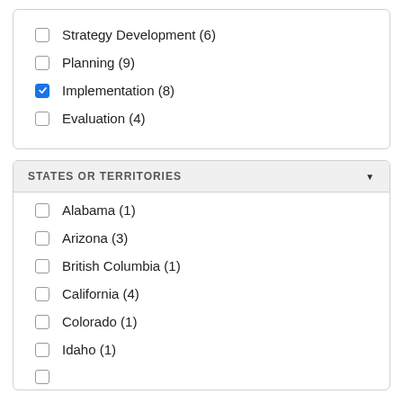Strategy Development (6)
Planning (9)
Implementation (8) [checked]
Evaluation (4)
STATES OR TERRITORIES
Alabama (1)
Arizona (3)
British Columbia (1)
California (4)
Colorado (1)
Idaho (1)